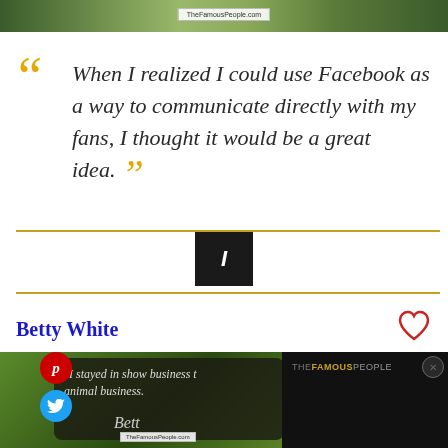[Figure (photo): Top banner image of a scenic landscape/bridge with TheFamousPeople.com watermark]
When I realized I could use Facebook as a way to communicate directly with my fans, I thought it would be a great idea.
Betty White
[Figure (screenshot): Second quote card with dark background on green: 'I stayed in show business to be in the animal business.' by Betty White, with TheFamousPeople.com watermark, Pinterest and Twitter share buttons, and a dark overlay panel with THEFAMOUSPEOPLE logo]